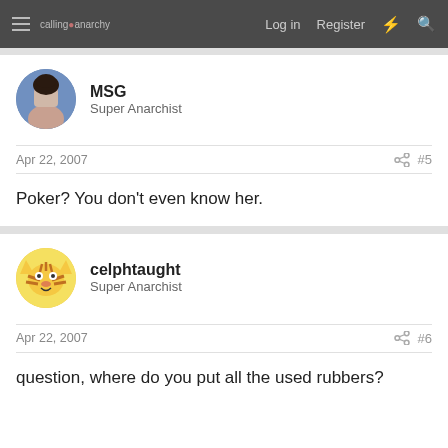calling anarchy | Log in  Register
MSG
Super Anarchist
Apr 22, 2007  #5
Poker? You don't even know her.
celphtaught
Super Anarchist
Apr 22, 2007  #6
question, where do you put all the used rubbers?